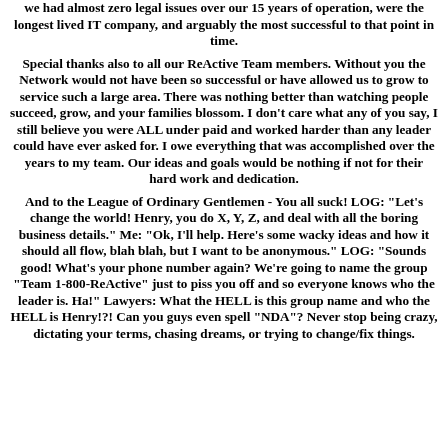we had almost zero legal issues over our 15 years of operation, were the longest lived IT company, and arguably the most successful to that point in time.
Special thanks also to all our ReActive Team members. Without you the Network would not have been so successful or have allowed us to grow to service such a large area. There was nothing better than watching people succeed, grow, and your families blossom. I don't care what any of you say, I still believe you were ALL under paid and worked harder than any leader could have ever asked for. I owe everything that was accomplished over the years to my team. Our ideas and goals would be nothing if not for their hard work and dedication.
And to the League of Ordinary Gentlemen - You all suck! LOG: "Let's change the world! Henry, you do X, Y, Z, and deal with all the boring business details." Me: "Ok, I'll help. Here's some wacky ideas and how it should all flow, blah blah, but I want to be anonymous." LOG: "Sounds good! What's your phone number again? We're going to name the group "Team 1-800-ReActive" just to piss you off and so everyone knows who the leader is. Ha!" Lawyers: What the HELL is this group name and who the HELL is Henry!?! Can you guys even spell "NDA"? Never stop being crazy, dictating your terms, chasing dreams, or trying to change/fix things.